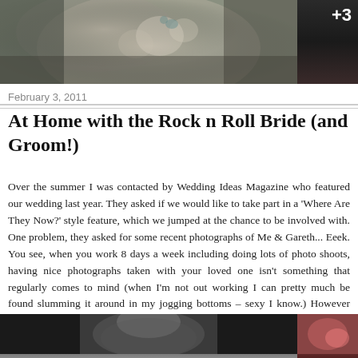[Figure (photo): Top banner with wedding/floral photo on left taking most of width, dark photo on right with '+3' overlay text]
February 3, 2011
At Home with the Rock n Roll Bride (and Groom!)
Over the summer I was contacted by Wedding Ideas Magazine who featured our wedding last year. They asked if we would like to take part in a 'Where Are They Now?' style feature, which we jumped at the chance to be involved with. One problem, they asked for some recent photographs of Me & Gareth... Eeek. You see, when you work 8 days a week including doing lots of photo shoots, having nice photographs taken with your loved one isn't something that regularly comes to mind (when I'm not out working I can pretty much be found slumming it around in my jogging bottoms – sexy I know.) However luckily for us, my awesome friend Emma Case just happened to be visiting so I asked her if she'd be so kind as to take some shots of us. What lucky ducks we are.
Continue reading...
[Figure (photo): Bottom banner with black and white portrait photo on left and colorful photo on right]